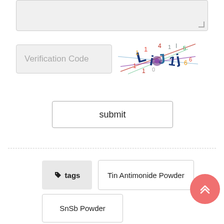[Figure (screenshot): A textarea input field with a light grey background and a resize handle in the bottom right corner.]
Verification Code
[Figure (other): A CAPTCHA image showing distorted numbers and letters in various colors (red, blue, yellow, green) with diagonal lines across them.]
submit
tags
Tin Antimonide Powder
SnSb Powder